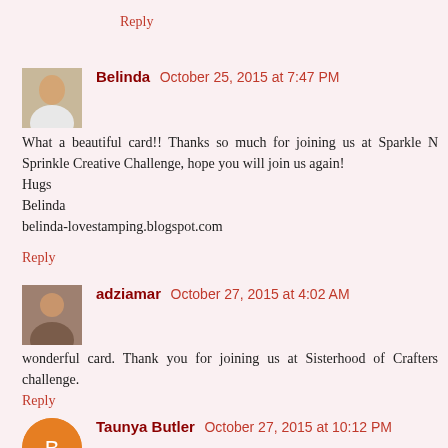Reply
Belinda  October 25, 2015 at 7:47 PM
What a beautiful card!! Thanks so much for joining us at Sparkle N Sprinkle Creative Challenge, hope you will join us again!
Hugs
Belinda
belinda-lovestamping.blogspot.com
Reply
adziamar  October 27, 2015 at 4:02 AM
wonderful card. Thank you for joining us at Sisterhood of Crafters challenge.
Reply
Taunya Butler  October 27, 2015 at 10:12 PM
FUN, CUTE card with its...